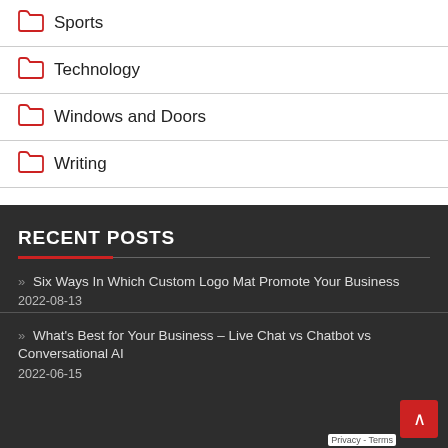Sports
Technology
Windows and Doors
Writing
RECENT POSTS
» Six Ways In Which Custom Logo Mat Promote Your Business 2022-08-13
» What's Best for Your Business – Live Chat vs Chatbot vs Conversational AI 2022-06-15